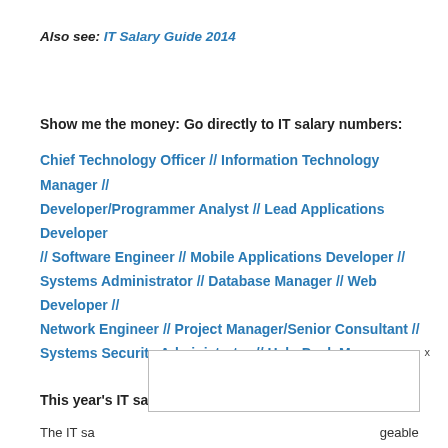Also see: IT Salary Guide 2014
Show me the money: Go directly to IT salary numbers:
Chief Technology Officer // Information Technology Manager // Developer/Programmer Analyst // Lead Applications Developer // Software Engineer // Mobile Applications Developer // Systems Administrator // Database Manager // Web Developer // Network Engineer // Project Manager/Senior Consultant // Systems Security Administrator // Help Desk Manager
This year's IT salary, the backstory:
The IT sa ... geable